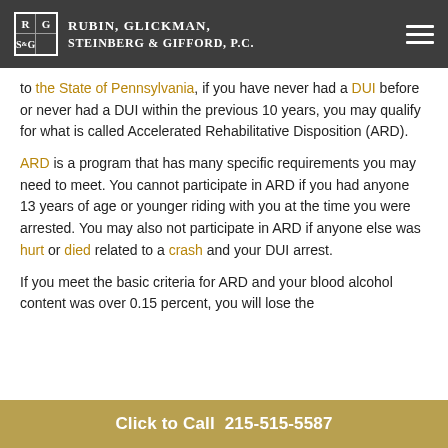Rubin, Glickman, Steinberg & Gifford, P.C.
to the State of Pennsylvania, if you have never had a DUI before or never had a DUI within the previous 10 years, you may qualify for what is called Accelerated Rehabilitative Disposition (ARD).
ARD is a program that has many specific requirements you may need to meet. You cannot participate in ARD if you had anyone 13 years of age or younger riding with you at the time you were arrested. You may also not participate in ARD if anyone else was hurt or died related to a crash and your DUI arrest.
If you meet the basic criteria for ARD and your blood alcohol content was over 0.15 percent, you will lose the
Click to Call  215-515-5587